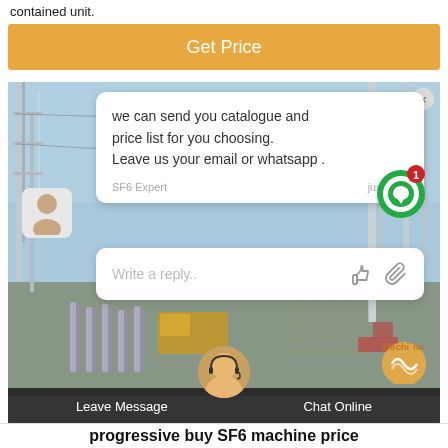contained unit.
[Figure (screenshot): Orange 'Get Price' button]
[Figure (screenshot): Chat popup overlay on electrical substation photo background. Chat message reads: 'we can send you catalogue and price list for you choosing. Leave us your email or whatsapp .' Sender: SF6 Expert, just now. Reply input: 'Write a reply..' with like and paperclip icons. Green notification circle with '1' badge. Bottom bar with 'Leave Message' and 'Chat Online'. Bottom headline: 'progressive buy SF6 machine price']